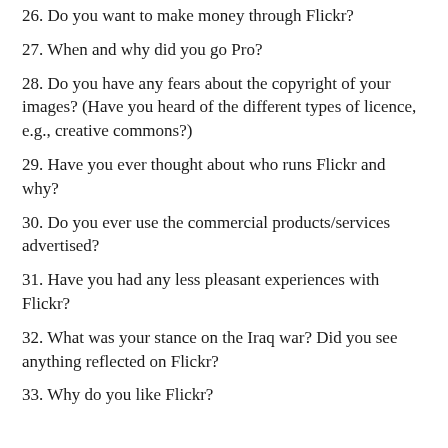26. Do you want to make money through Flickr?
27. When and why did you go Pro?
28. Do you have any fears about the copyright of your images? (Have you heard of the different types of licence, e.g., creative commons?)
29. Have you ever thought about who runs Flickr and why?
30. Do you ever use the commercial products/services advertised?
31. Have you had any less pleasant experiences with Flickr?
32. What was your stance on the Iraq war? Did you see anything reflected on Flickr?
33. Why do you like Flickr?